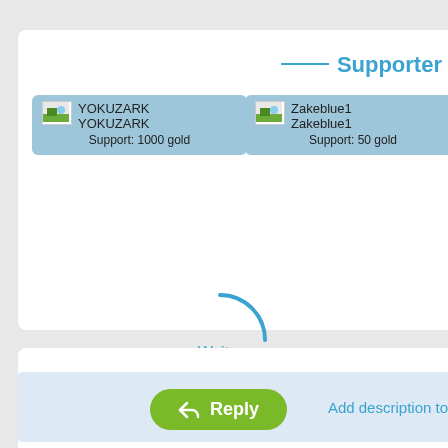Supporter
[Figure (screenshot): User tile for YOKUZARK showing avatar icon, username YOKUZARK, and Support: 1000 gold]
[Figure (screenshot): User tile for Zakeblue1 showing avatar icon, username Zakeblue1, and Support: 50 gold]
[Figure (other): Circular loading spinner with Wait... text in blue]
Add description to
[Figure (other): Green Reply button with back arrow icon]